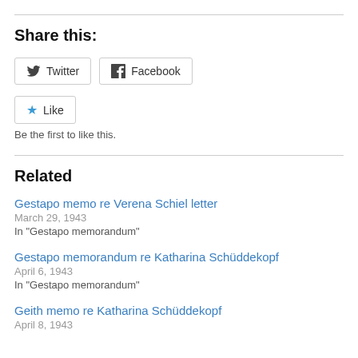Share this:
Twitter  Facebook
Like
Be the first to like this.
Related
Gestapo memo re Verena Schiel letter
March 29, 1943
In "Gestapo memorandum"
Gestapo memorandum re Katharina Schüddekopf
April 6, 1943
In "Gestapo memorandum"
Geith memo re Katharina Schüddekopf
April 8, 1943